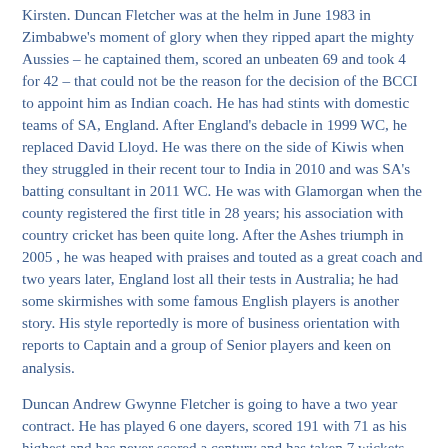Kirsten. Duncan Fletcher was at the helm in June 1983 in Zimbabwe's moment of glory when they ripped apart the mighty Aussies – he captained them, scored an unbeaten 69 and took 4 for 42 – that could not be the reason for the decision of the BCCI to appoint him as Indian coach. He has had stints with domestic teams of SA, England. After England's debacle in 1999 WC, he replaced David Lloyd. He was there on the side of Kiwis when they struggled in their recent tour to India in 2010 and was SA's batting consultant in 2011 WC. He was with Glamorgan when the county registered the first title in 28 years; his association with country cricket has been quite long. After the Ashes triumph in 2005 , he was heaped with praises and touted as a great coach and two years later, England lost all their tests in Australia; he had some skirmishes with some famous English players is another story. His style reportedly is more of business orientation with reports to Captain and a group of Senior players and keen on analysis.
Duncan Andrew Gwynne Fletcher is going to have a two year contract. He has played 6 one dayers, scored 191 with 71 as his highest and has never scored a century and has taken 7 wickets. When the minnows played Aussies at Trentbridge, Nottingham